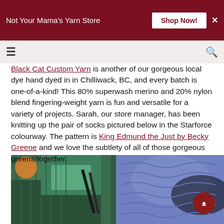Not Your Mama's Yarn Store  Shop Now!
Black Cat Custom Yarn is another of our gorgeous local dye hand dyed in in Chilliwack, BC, and every batch is one-of-a-kind! This 80% superwash merino and 20% nylon blend fingering-weight yarn is fun and versatile for a variety of projects. Sarah, our store manager, has been knitting up the pair of socks pictured below in the Starforce colourway. The pattern is King Edmund the Just by Becky Greene and we love the subtlety of all of those gorgeous greens together.
[Figure (photo): Close-up photograph of green/teal hand-knitted socks in progress, shown with knitting needles on a decorative blue and white patterned surface with an orange circular object visible]